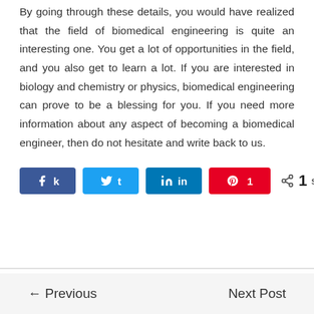By going through these details, you would have realized that the field of biomedical engineering is quite an interesting one. You get a lot of opportunities in the field, and you also get to learn a lot. If you are interested in biology and chemistry or physics, biomedical engineering can prove to be a blessing for you. If you need more information about any aspect of becoming a biomedical engineer, then do not hesitate and write back to us.
[Figure (infographic): Social sharing buttons: Facebook (k), Twitter (t), LinkedIn (in), Pinterest with count 1, and a share icon showing 1 SHARES total]
← Previous    Next Post